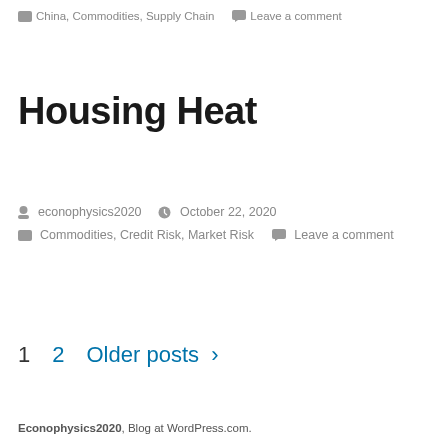China, Commodities, Supply Chain  Leave a comment
Housing Heat
econophysics2020  October 22, 2020
Commodities, Credit Risk, Market Risk  Leave a comment
1  2  Older posts >
Econophysics2020, Blog at WordPress.com.